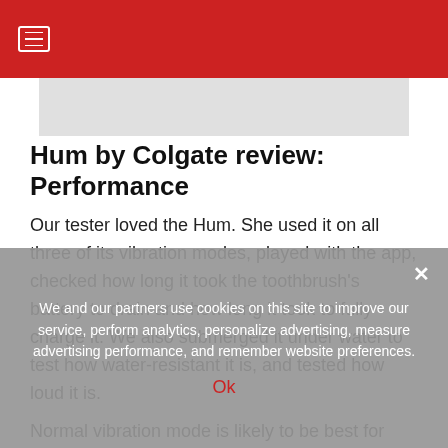≡ (hamburger menu)
[Figure (other): Gray placeholder image area below the red navigation header]
Hum by Colgate review: Performance
Our tester loved the Hum. She used it on all three of its vibration modes, played with the app, checked how long it took the toothbrush's battery to drain and how long it took to fully charge it. We also submerged it under water to test how water-resistant it is, and tested how loud it is.
Normal vibration mode is likely to be best for most people, but we love the option of a sensitive mode for
We and our partners use cookies on this site to improve our service, perform analytics, personalize advertising, measure advertising performance, and remember website preferences.
Ok